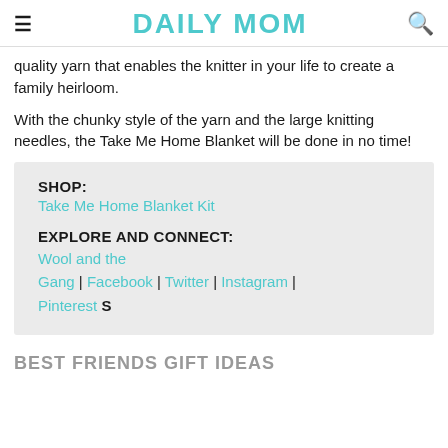DAILY MOM
quality yarn that enables the knitter in your life to create a family heirloom.
With the chunky style of the yarn and the large knitting needles, the Take Me Home Blanket will be done in no time!
SHOP:
Take Me Home Blanket Kit

EXPLORE AND CONNECT:
Wool and the Gang | Facebook | Twitter | Instagram | Pinterest S
BEST FRIENDS GIFT IDEAS